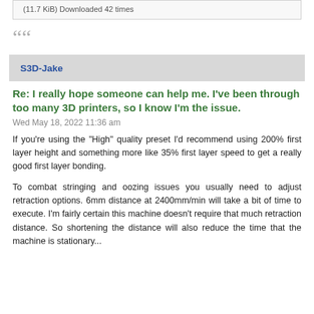(11.7 KiB) Downloaded 42 times
““
S3D-Jake
Re: I really hope someone can help me. I've been through too many 3D printers, so I know I'm the issue.
Wed May 18, 2022 11:36 am
If you're using the "High" quality preset I'd recommend using 200% first layer height and something more like 35% first layer speed to get a really good first layer bonding.
To combat stringing and oozing issues you usually need to adjust retraction options. 6mm distance at 2400mm/min will take a bit of time to execute. I'm fairly certain this machine doesn't require that much retraction distance. So shortening the distance will also reduce the time that the machine is stationary...